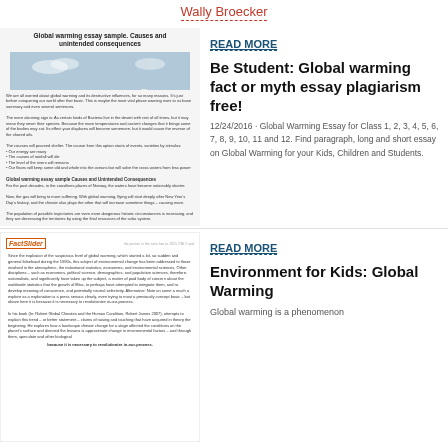Wally Broecker
[Figure (screenshot): Thumbnail of global warming essay sample page with polar bear image and text about causes and unintended consequences]
READ MORE
Be Student: Global warming fact or myth essay plagiarism free!
12/24/2016 · Global Warming Essay for Class 1, 2, 3, 4, 5, 6, 7, 8, 9, 10, 11 and 12. Find paragraph, long and short essay on Global Warming for your Kids, Children and Students.
[Figure (screenshot): Thumbnail of FactSlides page about global warming with text content]
READ MORE
Environment for Kids: Global Warming
Global warming is a phenomenon